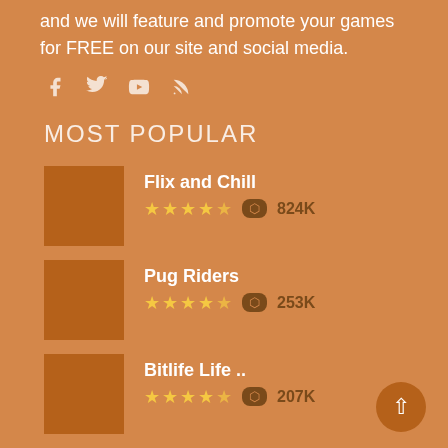and we will feature and promote your games for FREE on our site and social media.
[Figure (other): Social media icons: Facebook, Twitter, YouTube, RSS]
MOST POPULAR
Flix and Chill — 4.5 stars — 824K plays
Pug Riders — 4.5 stars — 253K plays
Bitlife Life .. — 4.5 stars — 207K plays
Mergest Kingdom — 4 stars — 115K plays